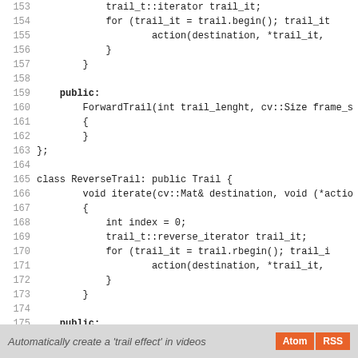[Figure (screenshot): Source code listing in C++ showing ForwardTrail and ReverseTrail class definitions, lines 153-181]
Automatically create a 'trail effect' in videos  Atom RSS